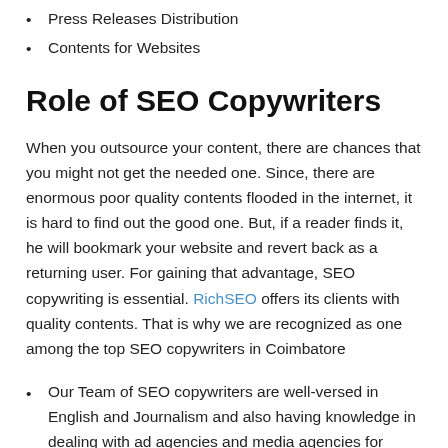Press Releases Distribution
Contents for Websites
Role of SEO Copywriters
When you outsource your content, there are chances that you might not get the needed one. Since, there are enormous poor quality contents flooded in the internet, it is hard to find out the good one. But, if a reader finds it, he will bookmark your website and revert back as a returning user. For gaining that advantage, SEO copywriting is essential. RichSEO offers its clients with quality contents. That is why we are recognized as one among the top SEO copywriters in Coimbatore
Our Team of SEO copywriters are well-versed in English and Journalism and also having knowledge in dealing with ad agencies and media agencies for marketing the same in